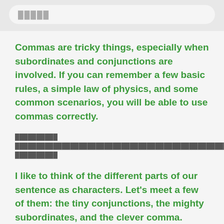█████
Commas are tricky things, especially when subordinates and conjunctions are involved. If you can remember a few basic rules, a simple law of physics, and some common scenarios, you will be able to use commas correctly.
██████████ ████████████████████████████████████████████████████████████████
I like to think of the different parts of our sentence as characters. Let's meet a few of them: the tiny conjunctions, the mighty subordinates, and the clever comma.
████████████████████████████████████████████████████████████████████